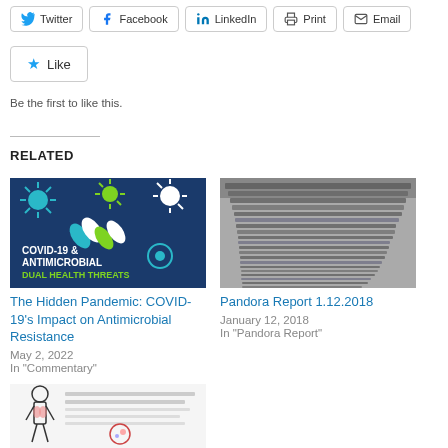Twitter | Facebook | LinkedIn | Print | Email
Like
Be the first to like this.
RELATED
[Figure (photo): COVID-19 & Antimicrobial Resistance: Dual Health Threats promotional image with virus icons on blue background]
The Hidden Pandemic: COVID-19's Impact on Antimicrobial Resistance
May 2, 2022
In “Commentary”
[Figure (photo): Black and white aerial photo of rows of beds in large indoor field hospital]
Pandora Report 1.12.2018
January 12, 2018
In “Pandora Report”
[Figure (infographic): Antibiotic resistance infographic showing human body diagram]